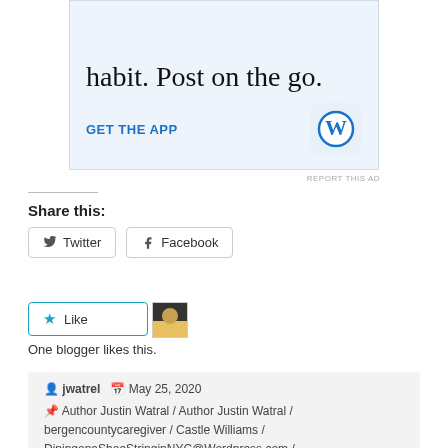[Figure (screenshot): WordPress app advertisement banner with text 'habit. Post on the go.' and a 'GET THE APP' call to action with WordPress logo icon on a light blue background]
REPORT THIS AD
Share this:
Twitter
Facebook
Like
One blogger likes this.
jwatrel  May 25, 2020
Author Justin Watral / Author Justin Watral / bergencountycaregiver / Castle Williams / DiningonaShoeStringinNYC@Wordpress.com /